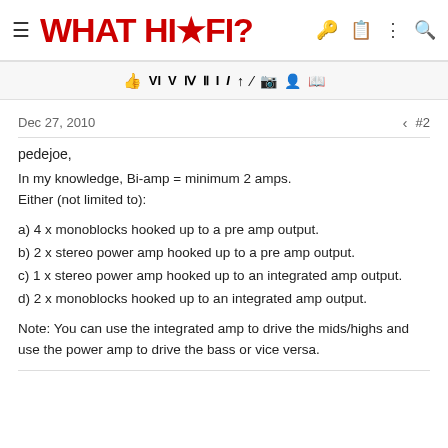WHAT HI·FI?
[Figure (other): Toolbar with rating icons: thumbs up, VI, V, III, II, I, italic I, arrow up, slash, camera, figure, book]
Dec 27, 2010   #2
pedejoe,
In my knowledge, Bi-amp = minimum 2 amps.
Either (not limited to):
a) 4 x monoblocks hooked up to a pre amp output.
b) 2 x stereo power amp hooked up to a pre amp output.
c) 1 x stereo power amp hooked up to an integrated amp output.
d) 2 x monoblocks hooked up to an integrated amp output.
Note: You can use the integrated amp to drive the mids/highs and use the power amp to drive the bass or vice versa.